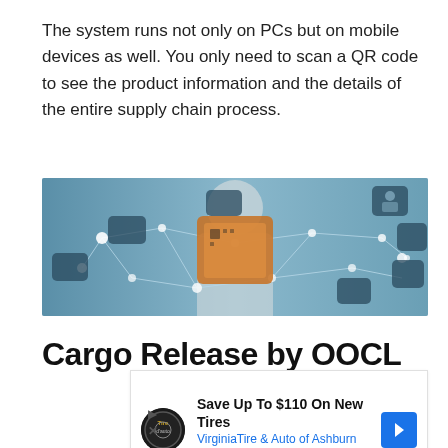The system runs not only on PCs but on mobile devices as well. You only need to scan a QR code to see the product information and the details of the entire supply chain process.
[Figure (photo): A person in a white coat touching a glowing digital blockchain/IoT network interface with various connected icons including security, mobile, analytics, and tracking symbols.]
Cargo Release by OOCL
[Figure (other): Advertisement: Save Up To $110 On New Tires - Virginia Tire & Auto of Ashburn Fa. with logo and blue arrow icon.]